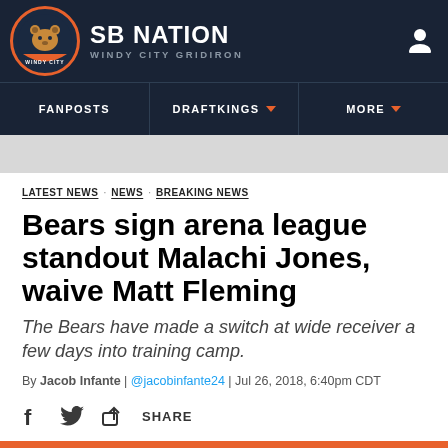SB NATION · WINDY CITY GRIDIRON
FANPOSTS | DRAFTKINGS | MORE
LATEST NEWS  NEWS  BREAKING NEWS
Bears sign arena league standout Malachi Jones, waive Matt Fleming
The Bears have made a switch at wide receiver a few days into training camp.
By Jacob Infante | @jacobinfante24 | Jul 26, 2018, 6:40pm CDT
SHARE